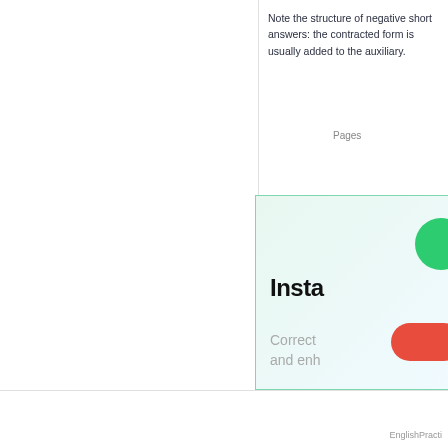Note the structure of negative short answers: the contracted form is usually added to the auxiliary.
Pages
[Figure (illustration): Advertisement box with gradient teal background, green circle icon top right, bold title 'Insta' (truncated), gray subtitle text 'Correct' and 'and enh' (truncated), and a red rounded button at bottom right.]
EnglishPracti